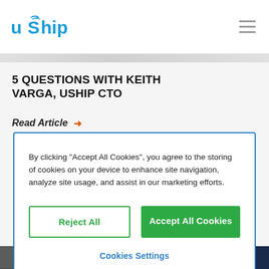uShip navigation bar with logo and hamburger menu
5 QUESTIONS WITH KEITH VARGA, USHIP CTO
Read Article →
By clicking "Accept All Cookies", you agree to the storing of cookies on your device to enhance site navigation, analyze site usage, and assist in our marketing efforts.
Reject All
Accept All Cookies
Cookies Settings